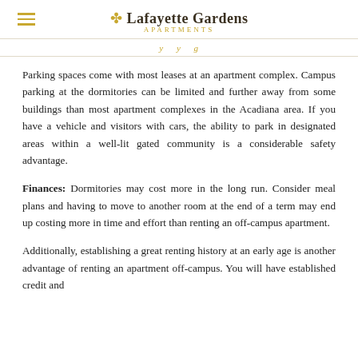Lafayette Gardens APARTMENTS
y y g
Parking spaces come with most leases at an apartment complex. Campus parking at the dormitories can be limited and further away from some buildings than most apartment complexes in the Acadiana area. If you have a vehicle and visitors with cars, the ability to park in designated areas within a well-lit gated community is a considerable safety advantage.
Finances: Dormitories may cost more in the long run. Consider meal plans and having to move to another room at the end of a term may end up costing more in time and effort than renting an off-campus apartment.
Additionally, establishing a great renting history at an early age is another advantage of renting an apartment off-campus. You will have established credit and